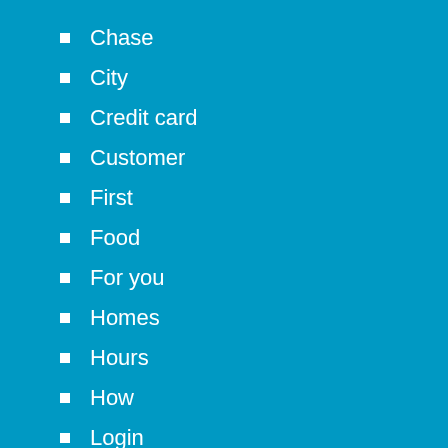Chase
City
Credit card
Customer
First
Food
For you
Homes
Hours
How
Login
Online
Open